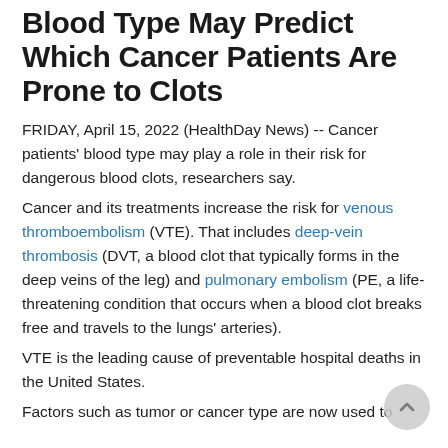Blood Type May Predict Which Cancer Patients Are Prone to Clots
FRIDAY, April 15, 2022 (HealthDay News) -- Cancer patients' blood type may play a role in their risk for dangerous blood clots, researchers say.
Cancer and its treatments increase the risk for venous thromboembolism (VTE). That includes deep-vein thrombosis (DVT, a blood clot that typically forms in the deep veins of the leg) and pulmonary embolism (PE, a life-threatening condition that occurs when a blood clot breaks free and travels to the lungs' arteries).
VTE is the leading cause of preventable hospital deaths in the United States.
Factors such as tumor or cancer type are now used to